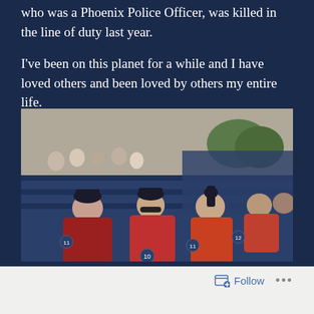who was a Phoenix Police Officer, was killed in the line of duty last year.

I've been on this planet for a while and I have loved others and been loved by others my entire life.
[Figure (photo): Group of people sitting in stadium seats at a baseball game. Several people in red shirts are seated in navy blue stadium chairs. Crowd visible in background.]
Follow ...